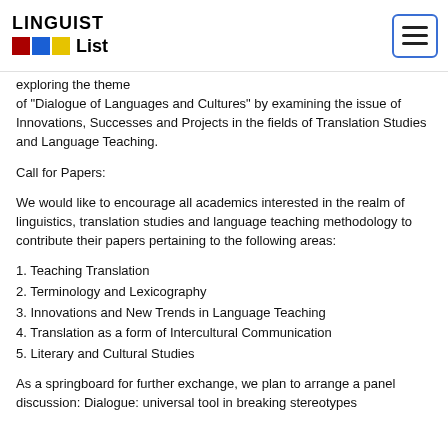LINGUIST List
exploring the theme of "Dialogue of Languages and Cultures" by examining the issue of Innovations, Successes and Projects in the fields of Translation Studies and Language Teaching.
Call for Papers:
We would like to encourage all academics interested in the realm of linguistics, translation studies and language teaching methodology to contribute their papers pertaining to the following areas:
1. Teaching Translation
2. Terminology and Lexicography
3. Innovations and New Trends in Language Teaching
4. Translation as a form of Intercultural Communication
5. Literary and Cultural Studies
As a springboard for further exchange, we plan to arrange a panel discussion: Dialogue: universal tool in breaking stereotypes